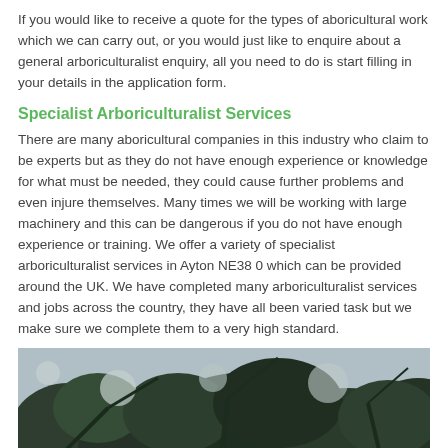If you would like to receive a quote for the types of aboricultural work which we can carry out, or you would just like to enquire about a general arboriculturalist enquiry, all you need to do is start filling in your details in the application form.
Specialist Arboriculturalist Services
There are many aboricultural companies in this industry who claim to be experts but as they do not have enough experience or knowledge for what must be needed, they could cause further problems and even injure themselves. Many times we will be working with large machinery and this can be dangerous if you do not have enough experience or training. We offer a variety of specialist arboriculturalist services in Ayton NE38 0 which can be provided around the UK. We have completed many arboriculturalist services and jobs across the country, they have all been varied task but we make sure we complete them to a very high standard.
[Figure (photo): Close-up photo of dark green tree leaves/foliage viewed from below, with some sky visible through the canopy.]